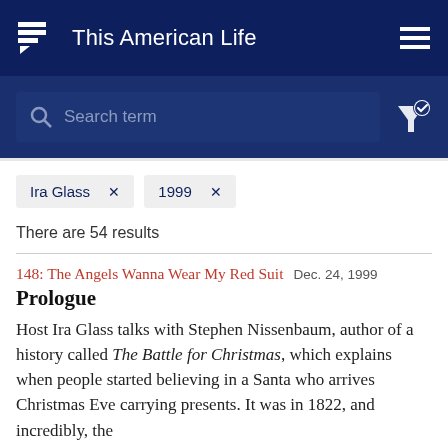This American Life
Search term
Ira Glass × | 1999 ×
There are 54 results
148: The Angels Wanna Wear My Red Suit Dec. 24, 1999
Prologue
Host Ira Glass talks with Stephen Nissenbaum, author of a history called The Battle for Christmas, which explains when people started believing in a Santa who arrives Christmas Eve carrying presents. It was in 1822, and incredibly, the